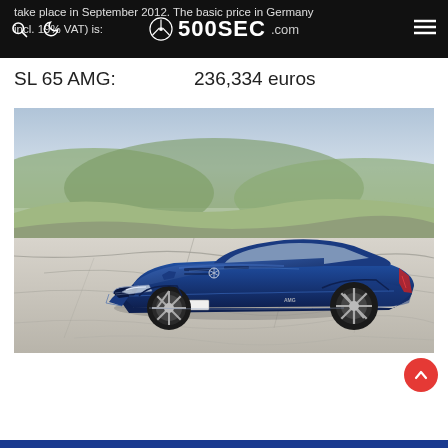500SEC.com
take place in September 2012. The basic price in Germany incl. 19% VAT) is:
SL 65 AMG:          236,334 euros
[Figure (photo): Blue Mercedes-Benz SL 65 AMG sports car parked on white rocky terrain with hilly landscape in background]